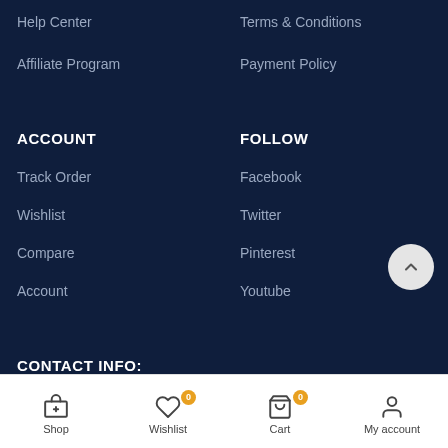Help Center
Terms & Conditions
Affiliate Program
Payment Policy
ACCOUNT
FOLLOW
Track Order
Facebook
Wishlist
Twitter
Compare
Pinterest
Account
Youtube
CONTACT INFO:
DIGITAL ZAKKA LLC
Shop | Wishlist 0 | Cart 0 | My account